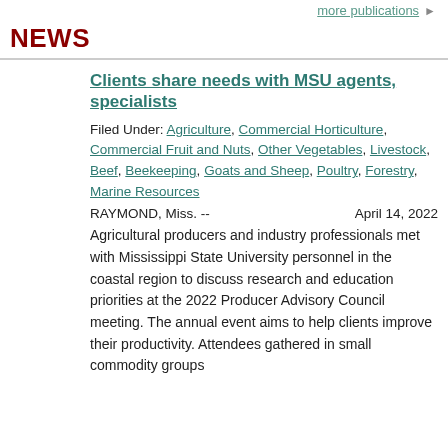more publications ▶
NEWS
Clients share needs with MSU agents, specialists
Filed Under: Agriculture, Commercial Horticulture, Commercial Fruit and Nuts, Other Vegetables, Livestock, Beef, Beekeeping, Goats and Sheep, Poultry, Forestry, Marine Resources
RAYMOND, Miss. --    April 14, 2022
Agricultural producers and industry professionals met with Mississippi State University personnel in the coastal region to discuss research and education priorities at the 2022 Producer Advisory Council meeting. The annual event aims to help clients improve their productivity. Attendees gathered in small commodity groups